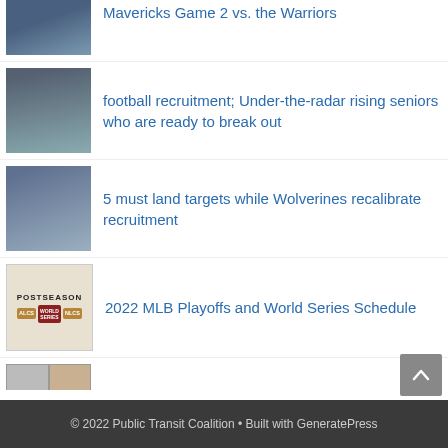Mavericks Game 2 vs. the Warriors
football recruitment; Under-the-radar rising seniors who are ready to break out
5 must land targets while Wolverines recalibrate recruitment
2022 MLB Playoffs and World Series Schedule
AMERICAN THEATER | Theater Mu establishes the circle of aspiring playwrights
© 2022 Public Transit Coalition • Built with GeneratePress